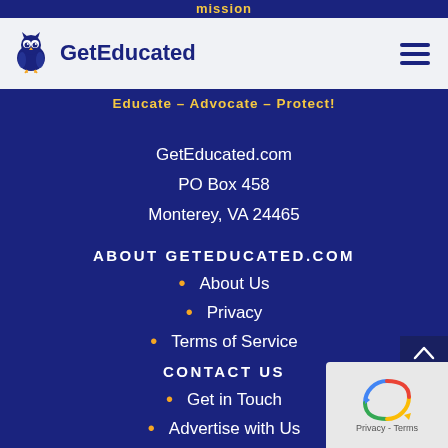mission
[Figure (logo): GetEducated owl logo with text 'GetEducated' in dark navy blue]
Educate – Advocate – Protect!
GetEducated.com
PO Box 458
Monterey, VA 24465
ABOUT GETEDUCATED.COM
About Us
Privacy
Terms of Service
CONTACT US
Get in Touch
Advertise with Us